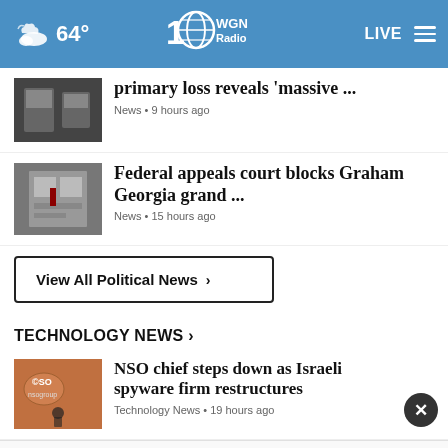64° WGN Radio LIVE
primary loss reveals 'massive ...
News • 9 hours ago
Federal appeals court blocks Graham Georgia grand ...
News • 15 hours ago
View All Political News ›
TECHNOLOGY NEWS ›
NSO chief steps down as Israeli spyware firm restructures
Technology News • 19 hours ago
Technology News • 2 days ago
Your Pet's Summer Gear Is Here
Petco